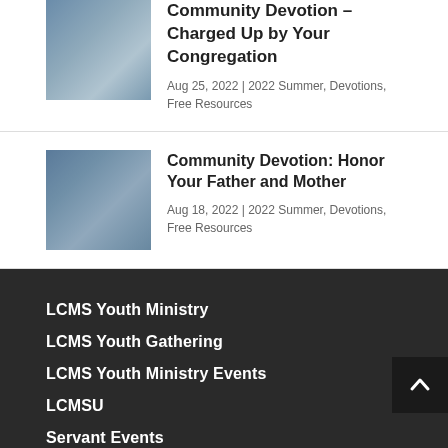Community Devotion – Charged Up by Your Congregation
Aug 25, 2022 | 2022 Summer, Devotions, Free Resources
Community Devotion: Honor Your Father and Mother
Aug 18, 2022 | 2022 Summer, Devotions, Free Resources
LCMS Youth Ministry
LCMS Youth Gathering
LCMS Youth Ministry Events
LCMSU
Servant Events
Young Adult Corps